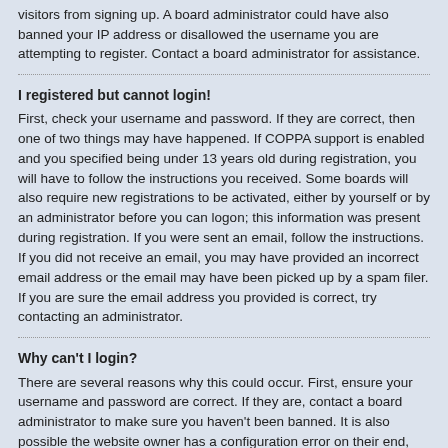visitors from signing up. A board administrator could have also banned your IP address or disallowed the username you are attempting to register. Contact a board administrator for assistance.
I registered but cannot login!
First, check your username and password. If they are correct, then one of two things may have happened. If COPPA support is enabled and you specified being under 13 years old during registration, you will have to follow the instructions you received. Some boards will also require new registrations to be activated, either by yourself or by an administrator before you can logon; this information was present during registration. If you were sent an email, follow the instructions. If you did not receive an email, you may have provided an incorrect email address or the email may have been picked up by a spam filer. If you are sure the email address you provided is correct, try contacting an administrator.
Why can't I login?
There are several reasons why this could occur. First, ensure your username and password are correct. If they are, contact a board administrator to make sure you haven't been banned. It is also possible the website owner has a configuration error on their end, and they would need to fix it.
I registered in the past but cannot login any more?!
It is possible an administrator has deactivated or deleted your account for some reason. Also, many boards periodically remove users who have not posted